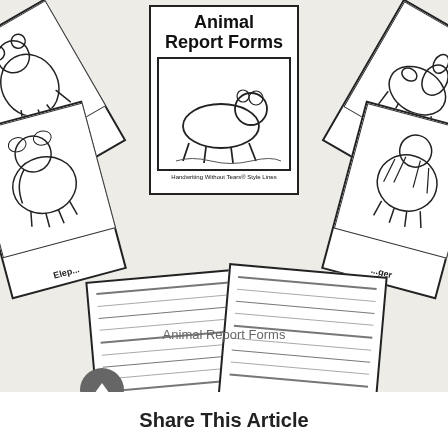[Figure (illustration): A fan arrangement of Animal Report Forms pages showing a central cover with 'Animal Report Forms' title and a polar bear illustration, surrounded by fanned pages showing animals (bear, camel, elephant, tiger) and lined writing pages at the bottom.]
Animal Report Forms
Share This Article